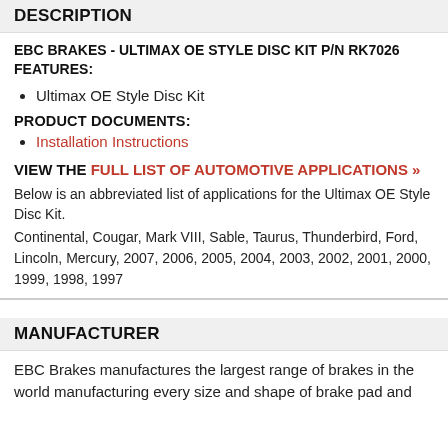DESCRIPTION
EBC BRAKES - ULTIMAX OE STYLE DISC KIT P/N RK7026 FEATURES:
Ultimax OE Style Disc Kit
PRODUCT DOCUMENTS:
Installation Instructions
VIEW THE FULL LIST OF AUTOMOTIVE APPLICATIONS »
Below is an abbreviated list of applications for the Ultimax OE Style Disc Kit.
Continental, Cougar, Mark VIII, Sable, Taurus, Thunderbird, Ford, Lincoln, Mercury, 2007, 2006, 2005, 2004, 2003, 2002, 2001, 2000, 1999, 1998, 1997
MANUFACTURER
EBC Brakes manufactures the largest range of brakes in the world manufacturing every size and shape of brake pad and